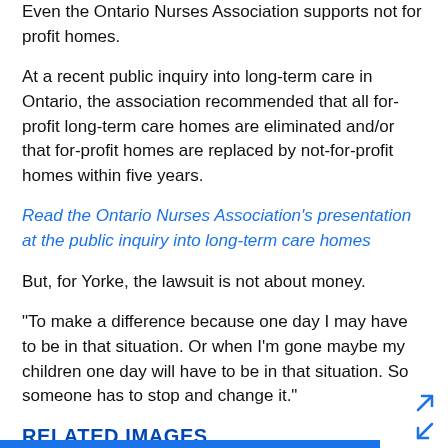Even the Ontario Nurses Association supports not for profit homes.
At a recent public inquiry into long-term care in Ontario, the association recommended that all for-profit long-term care homes are eliminated and/or that for-profit homes are replaced by not-for-profit homes within five years.
Read the Ontario Nurses Association's presentation at the public inquiry into long-term care homes
But, for Yorke, the lawsuit is not about money.
"To make a difference because one day I may have to be in that situation. Or when I'm gone maybe my children one day will have to be in that situation. So someone has to stop and change it."
RELATED IMAGES